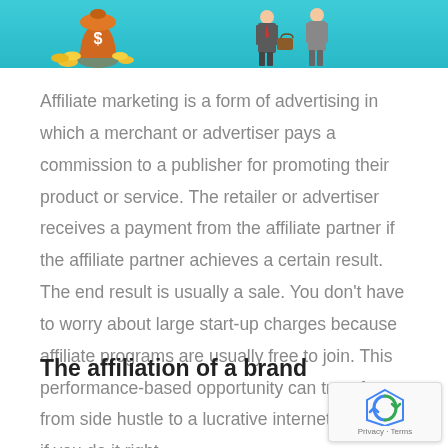[Figure (illustration): Banner image with teal/cyan background showing a money bag with dollar sign and gold coins on the left, and two businessmen figures on the right.]
Affiliate marketing is a form of advertising in which a merchant or advertiser pays a commission to a publisher for promoting their product or service. The retailer or advertiser receives a payment from the affiliate partner if the affiliate partner achieves a certain result. The end result is usually a sale. You don't have to worry about large start-up charges because affiliate programs are usually free to join. This performance-based opportunity can transform from side hustle to a lucrative internet business if you do it right.
The affiliation of a brand